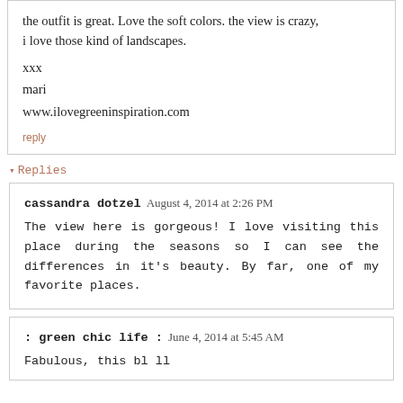the outfit is great. Love the soft colors. the view is crazy, i love those kind of landscapes.
xxx
mari
www.ilovegreeninspiration.com
reply
▾ Replies
cassandra dotzel  August 4, 2014 at 2:26 PM
The view here is gorgeous! I love visiting this place during the seasons so I can see the differences in it's beauty. By far, one of my favorite places.
: green chic life :  June 4, 2014 at 5:45 AM